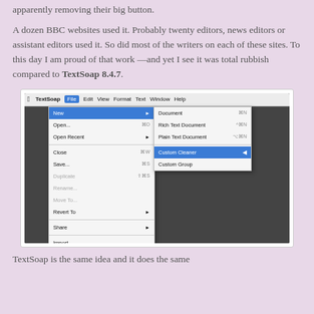apparently removing their big button.
A dozen BBC websites used it. Probably twenty editors, news editors or assistant editors used it. So did most of the writers on each of these sites. To this day I am proud of that work —and yet I see it was total rubbish compared to TextSoap 8.4.7.
[Figure (screenshot): Screenshot of TextSoap application on macOS showing the File menu open with New submenu expanded, highlighting 'Custom Cleaner' option. The File menu shows options: New (with submenu showing Document, Rich Text Document, Plain Text Document, Custom Cleaner, Custom Group), Open..., Open Recent, Close, Save..., Duplicate, Rename..., Move To..., Revert To, Share, Import..., Export..., Batch File Cleaning..., Page Setup..., Print...]
TextSoap is the same idea and it does the same